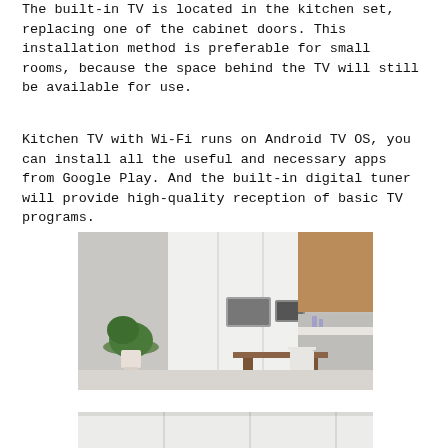The built-in TV is located in the kitchen set, replacing one of the cabinet doors. This installation method is preferable for small rooms, because the space behind the TV will still be available for use.
Kitchen TV with Wi-Fi runs on Android TV OS, you can install all the useful and necessary apps from Google Play. And the built-in digital tuner will provide high-quality reception of basic TV programs.
[Figure (photo): Modern white kitchen interior with built-in appliances including an oven and TV panel, a potted plant on the left, and a wooden dining table with white chairs on the right.]
[Figure (photo): Partial view of white kitchen cabinet panels at the bottom of the page.]